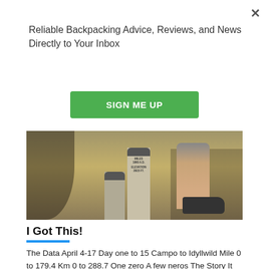×
Reliable Backpacking Advice, Reviews, and News Directly to Your Inbox
SIGN ME UP
[Figure (photo): Outdoor trail photo showing milestone markers with elevation and miles text, person's leg and shoe visible on right side, sandy desert terrain]
I Got This!
The Data April 4-17 Day one to 15 Campo to Idyllwild Mile 0 to 179.4 Km 0 to 288.7 One zero A few neros The Story It seems fitting that...
APR 19, 2018 : ANNETTE 'THE RAINBOW'